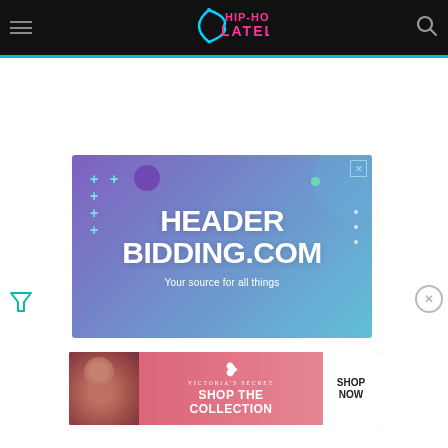Hip-Hop Lately - navigation bar with logo, hamburger menu, and search icon
[Figure (infographic): Advertisement banner for HeaderBidding.com with gradient purple-to-teal background, decorative plus signs and circles, text: HEADER BIDDING.COM - Your source for all things]
[Figure (infographic): Advertisement banner for Victoria's Secret: SHOP THE COLLECTION - SHOP NOW]